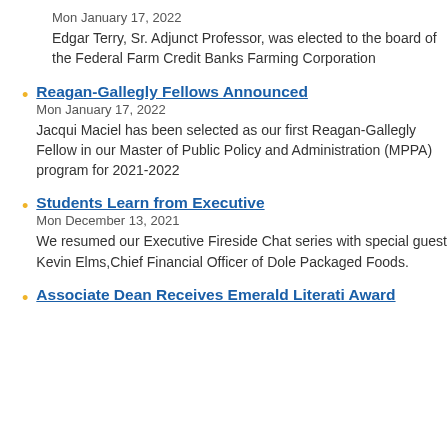Mon January 17, 2022
Edgar Terry, Sr. Adjunct Professor, was elected to the board of the Federal Farm Credit Banks Farming Corporation
Reagan-Gallegly Fellows Announced
Mon January 17, 2022
Jacqui Maciel has been selected as our first Reagan-Gallegly Fellow in our Master of Public Policy and Administration (MPPA) program for 2021-2022
Students Learn from Executive
Mon December 13, 2021
We resumed our Executive Fireside Chat series with special guest Kevin Elms, Chief Financial Officer of Dole Packaged Foods.
Associate Dean Receives Emerald Literati Award